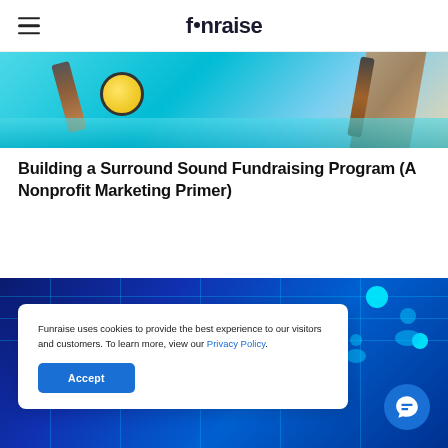funraise
[Figure (photo): Close-up photo of painting tools including a yellow round object, brushes, and wooden handles on a cyan/teal background with water]
Building a Surround Sound Fundraising Program (A Nonprofit Marketing Primer)
[Figure (illustration): Dark blue digital illustration with glowing cyan grid lines, dots, and person/user icons suggesting a digital network or platform]
Funraise uses cookies to provide the best experience to our visitors and customers. To learn more, view our Privacy Policy.
Accept